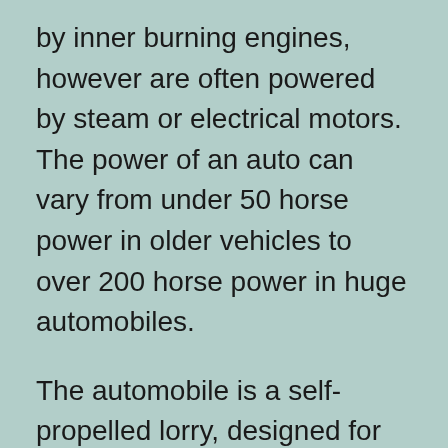by inner burning engines, however are often powered by steam or electrical motors. The power of an auto can vary from under 50 horse power in older vehicles to over 200 horse power in huge automobiles.
The automobile is a self-propelled lorry, designed for metropolitan use. There are different kinds, each with different features. Some vehicles are equipped with a roof covering, while others have numerous wheels. In addition, some cars have hydraulic systems. They can be powered by either vapor or electrical motors. The size and shape of autos